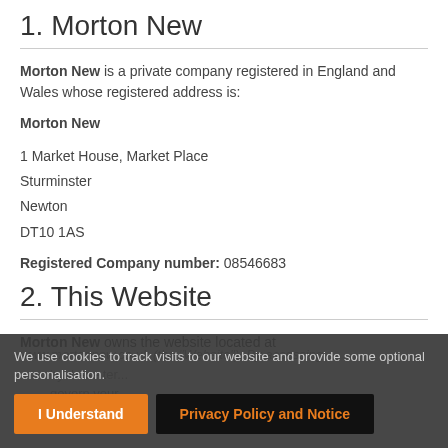1. Morton New
Morton New is a private company registered in England and Wales whose registered address is:
Morton New
1 Market House, Market Place
Sturminster
Newton
DT10 1AS
Registered Company number: 08546683
2. This Website
Morton New owns the website located at
We use cookies to track visits to our website and provide some optional personalisation.
I Understand
Privacy Policy and Notice